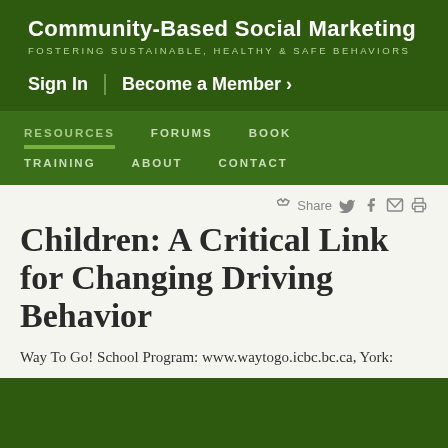Community-Based Social Marketing
FOSTERING SUSTAINABLE, HEALTHY & SAFE BEHAVIORS
Sign In  |  Become a Member >
RESOURCES  FORUMS  BOOK  TRAINING  ABOUT  CONTACT
Children: A Critical Link for Changing Driving Behavior
Way To Go! School Program: www.waytogo.icbc.bc.ca, York: